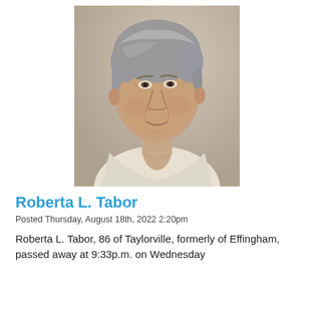[Figure (photo): Portrait photo of an elderly woman with short gray hair, wearing a light-colored top, looking slightly to the side, warm background.]
Roberta L. Tabor
Posted Thursday, August 18th, 2022 2:20pm
Roberta L. Tabor, 86 of Taylorville, formerly of Effingham, passed away at 9:33p.m. on Wednesday